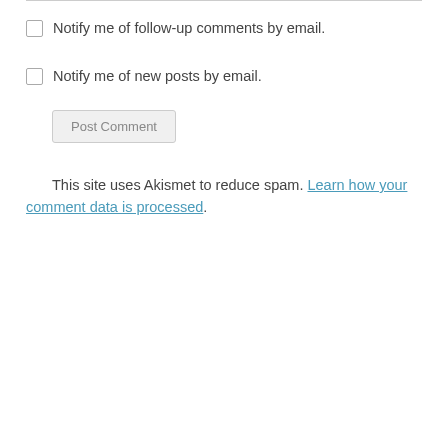Notify me of follow-up comments by email.
Notify me of new posts by email.
Post Comment
This site uses Akismet to reduce spam. Learn how your comment data is processed.